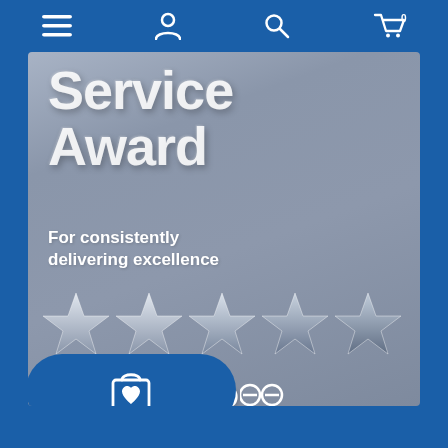[Figure (screenshot): Mobile website screenshot showing a Feefo Platinum Service Award 2022 banner on a blue background. The award card is silver/grey and shows large text 'Service Award', subtitle 'For consistently delivering excellence', five silver stars, the year '2022', and the Feefo logo. A blue navigation bar at the top has menu, account, search, and cart icons. A blue rounded shopping bag CTA button appears at the bottom left of the card.]